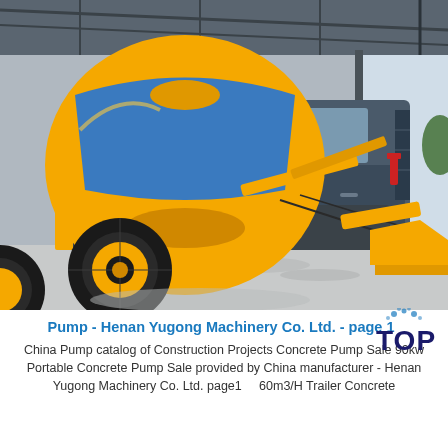[Figure (photo): A yellow self-loading concrete mixer truck parked inside an industrial warehouse/factory. The truck features a large yellow and blue rotating drum mixer, yellow chassis, large black rubber tires with yellow rims, hydraulic arms, and a loader bucket at the front. The background shows a corrugated metal roof structure and daylight through open doors.]
Pump - Henan Yugong Machinery Co. Ltd. - page 1
China Pump catalog of Construction Projects Concrete Pump Sale 90kw Portable Concrete Pump Sale provided by China manufacturer - Henan Yugong Machinery Co. Ltd. page1 ... 60m3/H Trailer Concrete